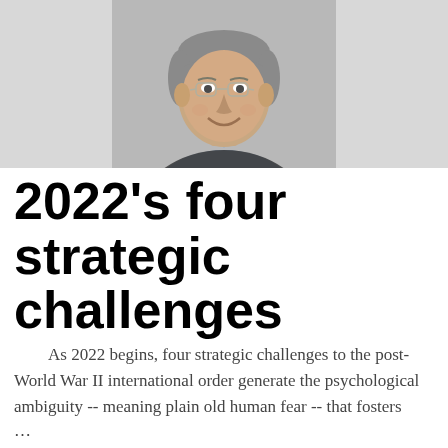[Figure (photo): Headshot of a middle-aged man with grey hair, glasses, and a smile, wearing a dark blazer and light blue shirt, centered against a white/grey background.]
2022's four strategic challenges
As 2022 begins, four strategic challenges to the post-World War II international order generate the psychological ambiguity -- meaning plain old human fear -- that fosters …